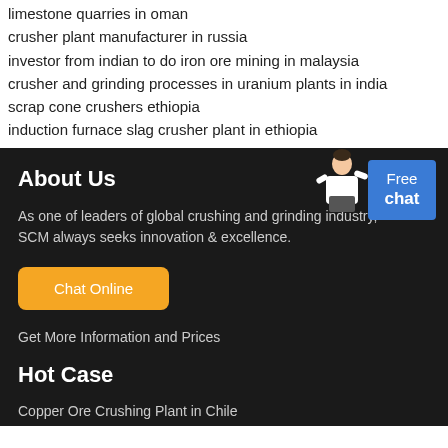limestone quarries in oman
crusher plant manufacturer in russia
investor from indian to do iron ore mining in malaysia
crusher and grinding processes in uranium plants in india
scrap cone crushers ethiopia
induction furnace slag crusher plant in ethiopia
About Us
As one of leaders of global crushing and grinding industry, SCM always seeks innovation & excellence.
Chat Online
Get More Information and Prices
Hot Case
Copper Ore Crushing Plant in Chile